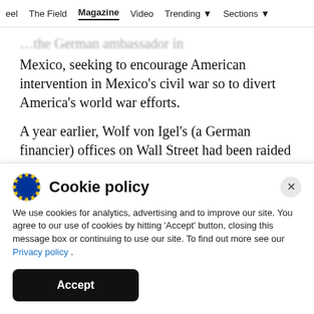eel  The Field  Magazine  Video  Trending  Sections
…the German ambassador in Mexico, seeking to encourage American intervention in Mexico's civil war so to divert America's world war efforts.
A year earlier, Wolf von Igel's (a German financier) offices on Wall Street had been raided and he professed to be a banker but in fact, was a spy. In 1917 also there was the clever development of…
Cookie policy
We use cookies for analytics, advertising and to improve our site. You agree to our use of cookies by hitting 'Accept' button, closing this message box or continuing to use our site. To find out more see our Privacy policy .
Accept